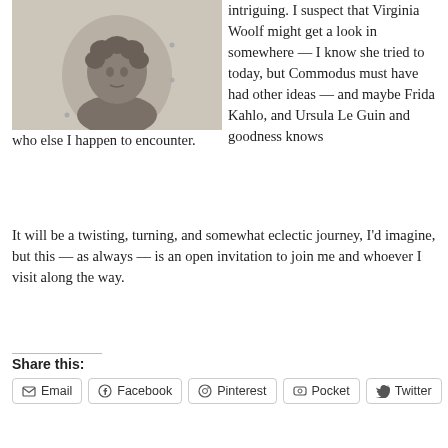[Figure (photo): A bronze bust sculpture of a figure with curly hair mounted on a light-colored wall]
intriguing. I suspect that Virginia Woolf might get a look in somewhere — I know she tried to today, but Commodus must have had other ideas — and maybe Frida Kahlo, and Ursula Le Guin and goodness knows who else I happen to encounter.
It will be a twisting, turning, and somewhat eclectic journey, I'd imagine, but this — as always — is an open invitation to join me and whoever I visit along the way.
Share this:
Email
Facebook
Pinterest
Pocket
Twitter